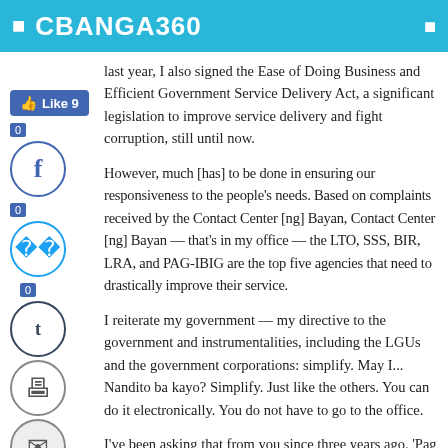CBANGA360
last year, I also signed the Ease of Doing Business and Efficient Government Service Delivery Act, a significant legislation to improve service delivery and fight corruption, still until now.
However, much [has] to be done in ensuring our responsiveness to the people's needs. Based on complaints received by the Contact Center [ng] Bayan, Contact Center [ng] Bayan — that's in my office — the LTO, SSS, BIR, LRA, and PAG-IBIG are the top five agencies that need to drastically improve their service.
I reiterate my government — my directive to the government and instrumentalities, including the LGUs and the government corporations: simplify. May I... Nandito ba kayo? Simplify. Just like the others. You can do it electronically. You do not have to go to the office.
I've been asking that from you since three years ago. 'Pag hindi pa ninyo nagawa 'yan ngayon, papatayin ko talaga kayo. Nabubwisit na...